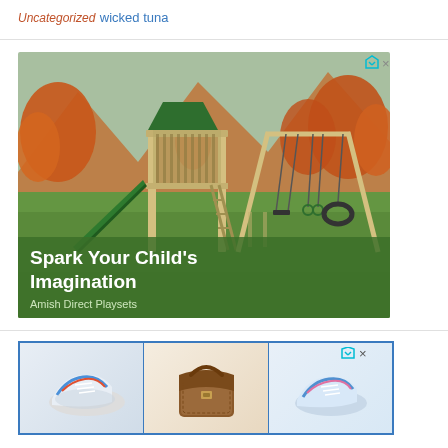Uncategorized
wicked tuna
[Figure (photo): Advertisement for Amish Direct Playsets showing a playground set with slide, swings, and tire swing against an autumn mountain backdrop. Text overlay reads: Spark Your Child's Imagination / Amish Direct Playsets]
[Figure (photo): Advertisement showing three product panels: sneakers, a brown leather messenger bag, and blue sneakers, with a blue border frame]